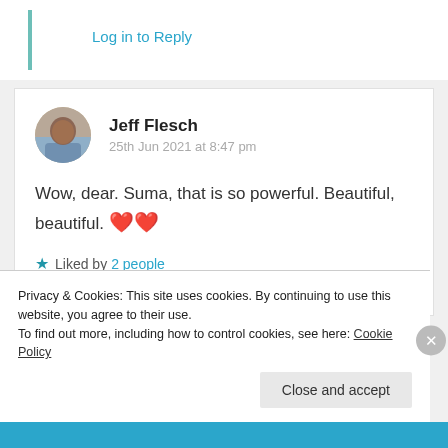Log in to Reply
Jeff Flesch
25th Jun 2021 at 8:47 pm
Wow, dear. Suma, that is so powerful. Beautiful, beautiful. ❤️❤️
★ Liked by 2 people
Log in to Reply
Privacy & Cookies: This site uses cookies. By continuing to use this website, you agree to their use.
To find out more, including how to control cookies, see here: Cookie Policy
Close and accept